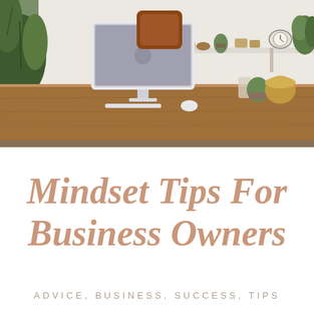[Figure (photo): A bright, modern home office desk with a white iMac computer, leather chair, wooden desk, shelf with plants and decorative objects, and greenery in the foreground]
Mindset Tips For Business Owners
ADVICE, BUSINESS, SUCCESS, TIPS